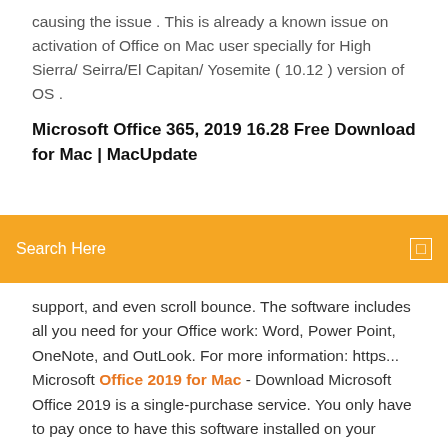causing the issue . This is already a known issue on activation of Office on Mac user specially for High Sierra/ Seirra/El Capitan/ Yosemite ( 10.12 ) version of OS .
Microsoft Office 365, 2019 16.28 Free Download for Mac | MacUpdate
[Figure (screenshot): Orange search bar with text 'Search Here' and a white bordered square icon on the right]
support, and even scroll bounce. The software includes all you need for your Office work: Word, Power Point, OneNote, and OutLook. For more information: https... Microsoft Office 2019 for Mac - Download Microsoft Office 2019 is a single-purchase service. You only have to pay once to have this software installed on your device. However, you won't be receiving any feature updates after you buy it. Of course, there are still the standard security and quality updates, but new tools and functionality won't... Microsoft Office 2019 Mac Free Download Full Version (Activare) Download Microsoft Office 2019 Mac Full